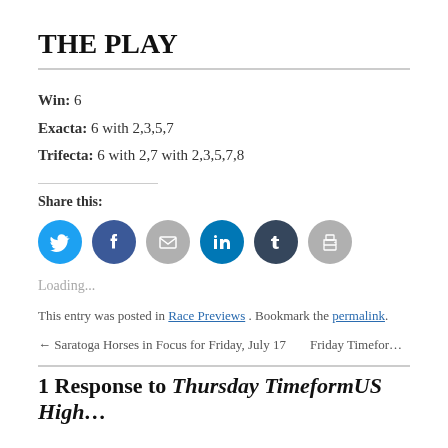THE PLAY
Win: 6
Exacta: 6 with 2,3,5,7
Trifecta: 6 with 2,7 with 2,3,5,7,8
Share this:
[Figure (infographic): Six social sharing buttons: Twitter (blue), Facebook (dark blue), Email (gray), LinkedIn (blue), Tumblr (dark navy), Print (gray) — all circular icon buttons]
Loading...
This entry was posted in Race Previews. Bookmark the permalink.
← Saratoga Horses in Focus for Friday, July 17
Friday Timeform US High... alte...
1 Response to Thursday TimeformUS High...